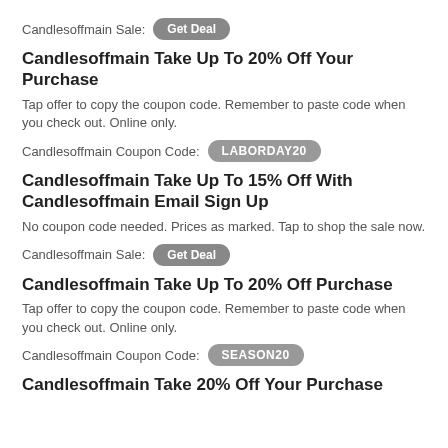Candlesoffmain Sale: Get Deal
Candlesoffmain Take Up To 20% Off Your Purchase
Tap offer to copy the coupon code. Remember to paste code when you check out. Online only.
Candlesoffmain Coupon Code: LABORDAY20
Candlesoffmain Take Up To 15% Off With Candlesoffmain Email Sign Up
No coupon code needed. Prices as marked. Tap to shop the sale now.
Candlesoffmain Sale: Get Deal
Candlesoffmain Take Up To 20% Off Purchase
Tap offer to copy the coupon code. Remember to paste code when you check out. Online only.
Candlesoffmain Coupon Code: SEASON20
Candlesoffmain Take 20% Off Your Purchase